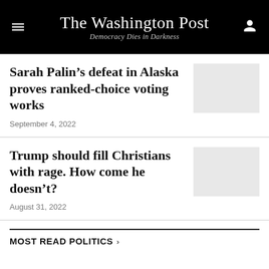The Washington Post — Democracy Dies in Darkness
Sarah Palin's defeat in Alaska proves ranked-choice voting works
September 4, 2022
[Figure (photo): Thumbnail image placeholder for first article]
Trump should fill Christians with rage. How come he doesn't?
August 31, 2022
[Figure (photo): Thumbnail image placeholder for second article]
MOST READ POLITICS >